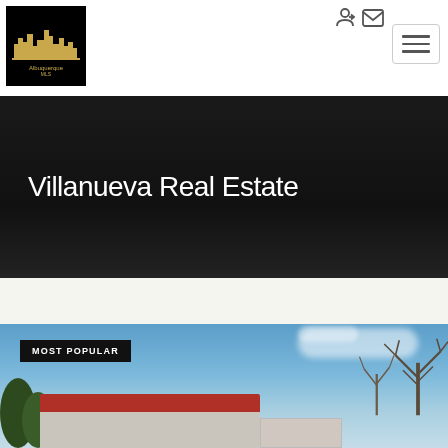[Figure (logo): Albuquerque MLS logo — city skyline in gold on black background]
Villanueva Real Estate
[Figure (photo): Exterior photo of a residential property with red tile roof under a clear blue sky with bare trees in the background]
MOST POPULAR